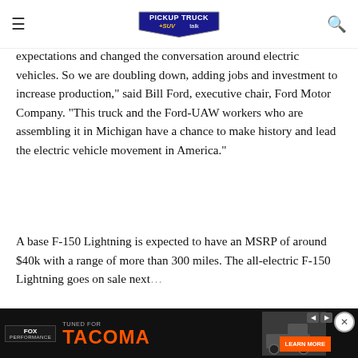Pickup Truck + SUV Talk
expectations and changed the conversation around electric vehicles. So we are doubling down, adding jobs and investment to increase production," said Bill Ford, executive chair, Ford Motor Company. "This truck and the Ford-UAW workers who are assembling it in Michigan have a chance to make history and lead the electric vehicle movement in America."
A base F-150 Lightning is expected to have an MSRP of around $40k with a range of more than 300 miles. The all-electric F-150 Lightning goes on sale next
[Figure (screenshot): Advertisement banner for Fox Performance - Tuned for Tacoma with orange text and truck image]